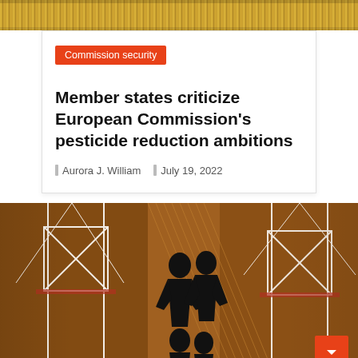[Figure (photo): Golden textured banner strip at the top of the page]
Commission security
Member states criticize European Commission's pesticide reduction ambitions
Aurora J. William   July 19, 2022
[Figure (photo): Close-up photograph of decorative figures or artwork on a brown/terracotta background, showing stylized human-like figures in black and white with geometric patterns]